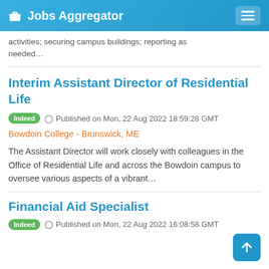Jobs Aggregator
activities; securing campus buildings; reporting as needed…
Interim Assistant Director of Residential Life
Indeed  Published on Mon, 22 Aug 2022 18:59:28 GMT
Bowdoin College - Brunswick, ME
The Assistant Director will work closely with colleagues in the Office of Residential Life and across the Bowdoin campus to oversee various aspects of a vibrant…
Financial Aid Specialist
Indeed  Published on Mon, 22 Aug 2022 16:08:58 GMT